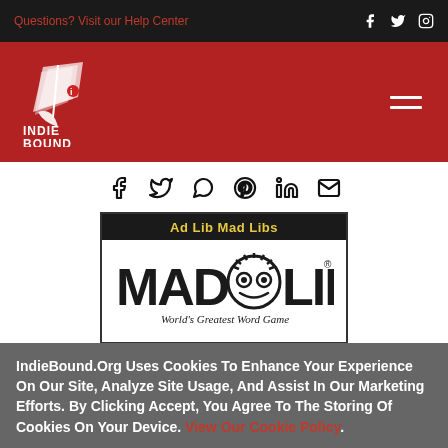Questions? Visit our Help Center
[Figure (logo): IndieBound logo on red background with hamburger menu icon]
[Figure (infographic): Social sharing icons: Facebook, Twitter, WhatsApp, Pinterest, LinkedIn, Email]
[Figure (illustration): Ad Lib Mad Libs book cover with MAD LIBS logo and 'World's Greatest Word Game' tagline]
IndieBound.Org Uses Cookies To Enhance Your Experience On Our Site, Analyze Site Usage, And Assist In Our Marketing Efforts. By Clicking Accept, You Agree To The Storing Of Cookies On Your Device. View Our Cookie Policy.